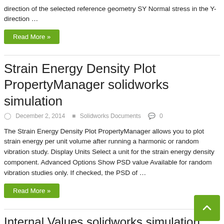direction of the selected reference geometry SY Normal stress in the Y-direction …
Read More »
Strain Energy Density Plot PropertyManager solidworks simulation
December 2, 2014   Solidworks Documents   0
The Strain Energy Density Plot PropertyManager allows you to plot strain energy per unit volume after running a harmonic or random vibration study. Display Units Select a unit for the strain energy density component. Advanced Options Show PSD value Available for random vibration studies only. If checked, the PSD of …
Read More »
Internal Values solidworks simulation
December 2, 2014   Solidworks Documents   0